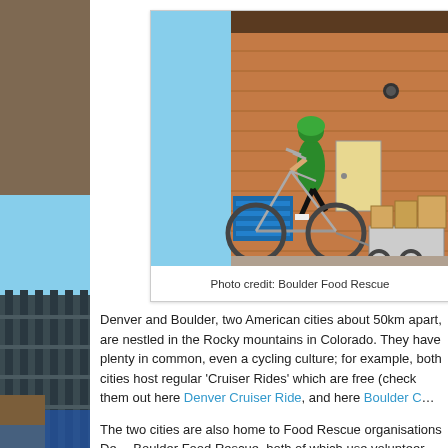[Figure (photo): Person on a bicycle with a large cargo trailer loaded with cardboard boxes, parked in front of a brick building with blue pallets in the background.]
Photo credit: Boulder Food Rescue
Denver and Boulder, two American cities about 50km apart, are nestled in the Rocky mountains in Colorado. They have plenty in common, even a cycling culture; for example, both cities host regular 'Cruiser Rides' which are free (check them out here Denver Cruiser Ride, and here Boulder C…
The two cities are also home to Food Rescue organisations De… Boulder Food Rescue, both of which use volunteer-ridden bikes… which would otherwise be discarded from grocery stores. The s…